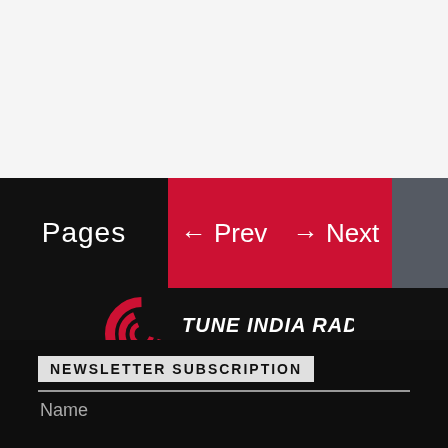[Figure (screenshot): Top navigation bar area with white/gray background above]
Pages
← Prev → Next
[Figure (logo): Tune India Radio logo with red swirl graphic and text 'TUNE INDIA RADIO 24x7 Your Music']
NEWSLETTER SUBSCRIPTION
Name